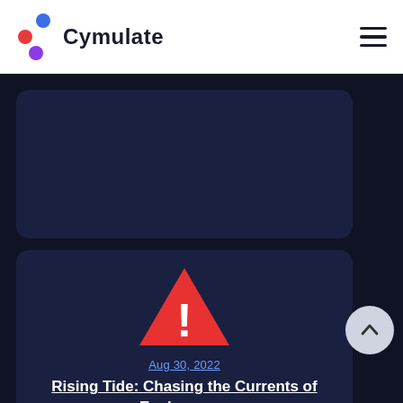Cymulate
[Figure (illustration): Dark navy card placeholder at top]
[Figure (illustration): Dark navy card with red warning triangle icon, date Aug 30 2022, article title and excerpt]
Aug 30, 2022
Rising Tide: Chasing the Currents of Espionage...
Proofpoint and PwC Threat Intelligence have jointly identified a cyber espionage campaign, active since April